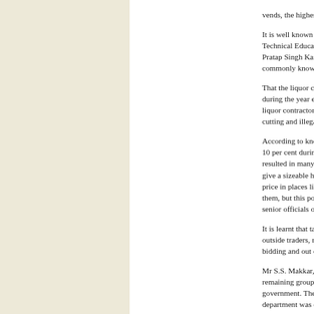vends, the highest in the state.
It is well known that the liquor trade in the district, Technical Education Minister Mr Jagdish Singh Ga Pratap Singh Kairon, had succeeded to some exten commonly known as ‘syndicate’ by bringing in oth
That the liquor contractors, reportedly favoured by during the year ended on March 31, 2001, is anoth new liquor contractors denied the possession of sh trade, rate cutting and illegal sale of liquor to affec
According to knowledgeable sources in liquor trad than 10 per cent during the last year, with each gro which had resulted in many of the contractors turni contractors to give a sizeable hike was unfair.” It w vends at a lower price in places like Sangrur, Ropa losses sustained by them, but this policy was given reasons best known to senior officials of the Excise
It is learnt that taking advantage of the prevailing u outside traders, reportedly enjoying close proximit bidding and out of two groups auctioned so far, one
Mr S.S. Makkar, Deputy Excise and Taxation Com remaining groups of vends in the district was conce the government. The two groups for which auction the department was operating another 42 vends in s